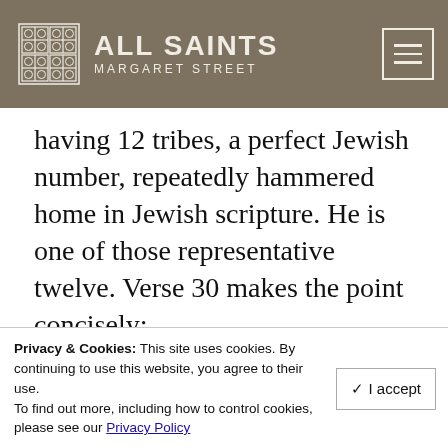ALL SAINTS MARGARET STREET
having 12 tribes, a perfect Jewish number, repeatedly hammered home in Jewish scripture. He is one of those representative twelve. Verse 30 makes the point concisely:
30 so that you may eat and drink at my table in my kingdom, and you will sit on thrones judging the twelve tribes of Israel.
But there were other apostles as well. We
Privacy & Cookies: This site uses cookies. By continuing to use this website, you agree to their use. To find out more, including how to control cookies, please see our Privacy Policy